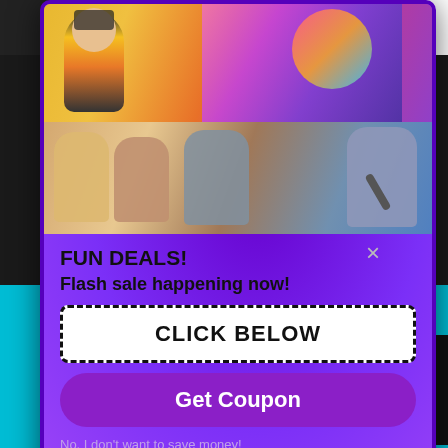[Figure (screenshot): Screenshot of a website with a popup modal overlay. The popup has a purple background with swirl pattern, two photos of people singing karaoke, and promotional text. Behind the popup is a dark website with pink social media icons, a navigation bar, teal section, and a waiver sidebar.]
to 11pm
10:00pm
FUN DEALS!
Flash sale happening now!
CLICK BELOW
Get Coupon
No, I don't want to save money! 🔥
VATIONS
ore information
& events
Waiver